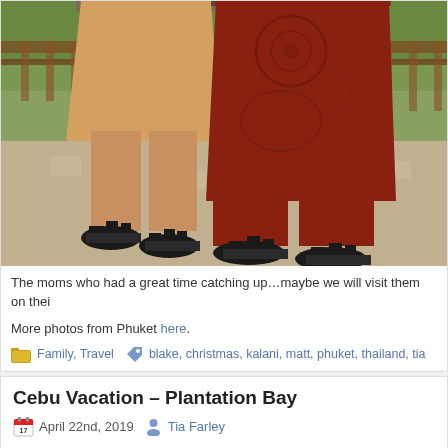[Figure (photo): Two women standing side by side outdoors, one wearing peach/beige shorts and black sandals, the other wearing red patterned pants and black sandals. Wooden railing and greenery visible in background.]
The moms who had a great time catching up…maybe we will visit them on thei
More photos from Phuket here.
Family, Travel   blake, christmas, kalani, matt, phuket, thailand, tia
Cebu Vacation – Plantation Bay
April 22nd, 2019   Tia Farley
At the end of November we had plane tickets to fly to Cebu for the long weeken taking him to the doctors we found out that he had the "mouth" part of Hand-Fo to Plantation Bay resort in Cebu, while Blake and Tia stayed in our empty cond